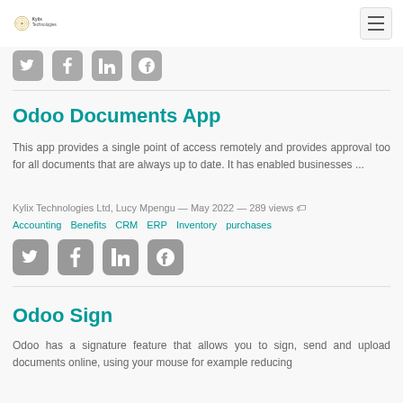Kylix Technologies
[Figure (other): Social media share icons (Twitter, Facebook, LinkedIn, Google+) — partial, top of page]
Odoo Documents App
This app provides a single point of access remotely and provides approval too for all documents that are always up to date. It has enabled businesses ...
Kylix Technologies Ltd, Lucy Mpengu — May 2022 — 289 views
Accounting   Benefits   CRM   ERP   Inventory   purchases
[Figure (other): Social media share icons (Twitter, Facebook, LinkedIn, Google+)]
Odoo Sign
Odoo has a signature feature that allows you to sign, send and upload documents online, using your mouse for example reducing